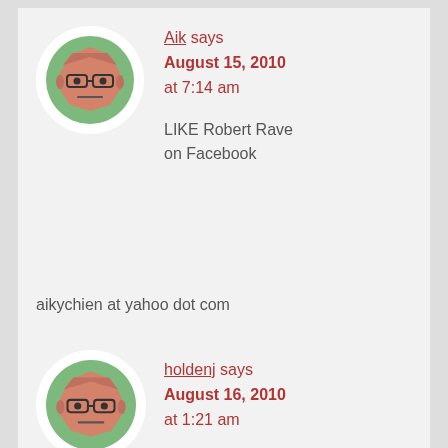[Figure (illustration): Avatar icon of a cartoon face with glasses in a circular green border on white background]
Aik says
August 15, 2010
at 7:14 am
LIKE Robert Rave on Facebook
aikychien at yahoo dot com
Reply
[Figure (illustration): Avatar icon of a cartoon face with glasses in a circular green border on white background]
holdenj says
August 16, 2010
at 1:21 am